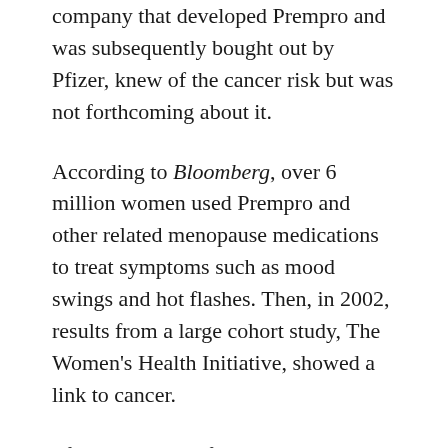company that developed Prempro and was subsequently bought out by Pfizer, knew of the cancer risk but was not forthcoming about it.
According to Bloomberg, over 6 million women used Prempro and other related menopause medications to treat symptoms such as mood swings and hot flashes. Then, in 2002, results from a large cohort study, The Women's Health Initiative, showed a link to cancer.
Pfizer reportedly faced over 10,000 lawsuits alleging that Prempro caused breast cancer in its users. The company has settled many of them in the past five months, Bloomberg reports. Those settlements include “8,000